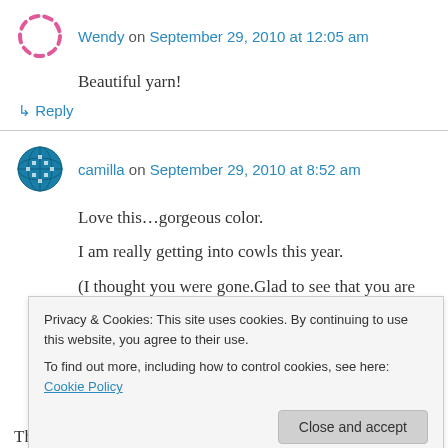Wendy on September 29, 2010 at 12:05 am
Beautiful yarn!
↳ Reply
camilla on September 29, 2010 at 8:52 am
Love this…gorgeous color.
I am really getting into cowls this year.
(I thought you were gone.Glad to see that you are still here with us in blogland!)
Privacy & Cookies: This site uses cookies. By continuing to use this website, you agree to their use.
To find out more, including how to control cookies, see here: Cookie Policy
Close and accept
That's lovely! And it looks like it knit up quickly–